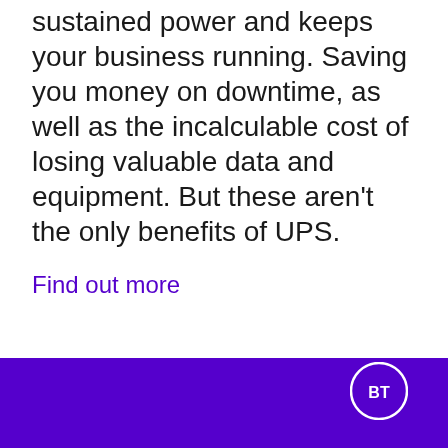sustained power and keeps your business running. Saving you money on downtime, as well as the incalculable cost of losing valuable data and equipment. But these aren't the only benefits of UPS.
Find out more
[Figure (logo): BT logo: circle with 'BT' text in white on purple background]